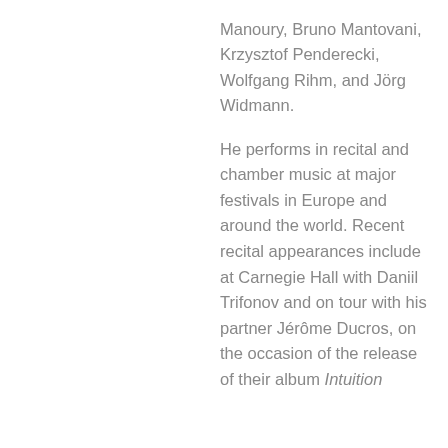Manoury, Bruno Mantovani, Krzysztof Penderecki, Wolfgang Rihm, and Jörg Widmann.
He performs in recital and chamber music at major festivals in Europe and around the world. Recent recital appearances include at Carnegie Hall with Daniil Trifonov and on tour with his partner Jérôme Ducros, on the occasion of the release of their album Intuition